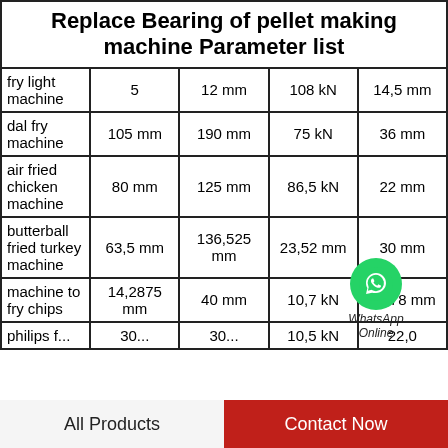|  | Col1 | Col2 | Col3 | Col4 |
| --- | --- | --- | --- | --- |
| fry light machine | 5 | 12 mm | 108 kN | 14,5 mm |
| dal fry machine | 105 mm | 190 mm | 75 kN | 36 mm |
| air fried chicken machine | 80 mm | 125 mm | 86,5 kN | 22 mm |
| butterball fried turkey machine | 63,5 mm | 136,525 mm | 23,52 mm | 30 mm |
| machine to fry chips | 14,2875 mm | 40 mm | 10,7 kN | 27,78 mm |
| philips f... | 30... | 30... | 10,5 kN | 22,0... |
All Products   Contact Now